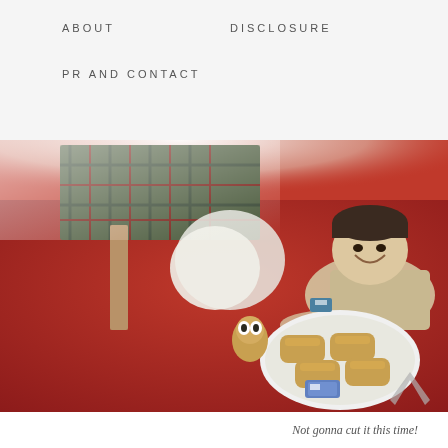ABOUT   DISCLOSURE   PR AND CONTACT
[Figure (photo): A young smiling boy lying on a red carpet floor, reaching toward a white plate of sausage rolls/pastries. A wooden chair with tartan fabric is visible in the background. There is a small toy owl figure on the floor nearby. The photo is taken from above at an angle, with bright light in the background.]
Not gonna cut it this time!